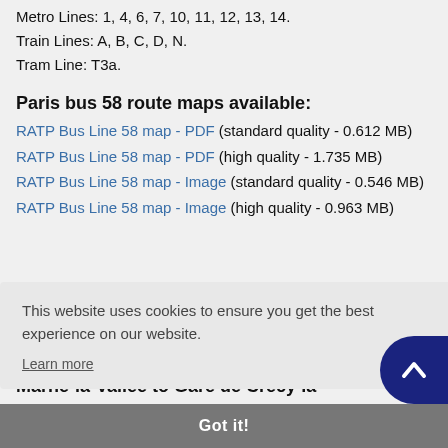Metro Lines: 1, 4, 6, 7, 10, 11, 12, 13, 14.
Train Lines: A, B, C, D, N.
Tram Line: T3a.
Paris bus 58 route maps available:
RATP Bus Line 58 map - PDF (standard quality - 0.612 MB)
RATP Bus Line 58 map - PDF (high quality - 1.735 MB)
RATP Bus Line 58 map - Image (standard quality - 0.546 MB)
RATP Bus Line 58 map - Image (high quality - 0.963 MB)
This website uses cookies to ensure you get the best experience on our website. Learn more
Got it!
Marne-la-Vallee to Gare de Crecy la